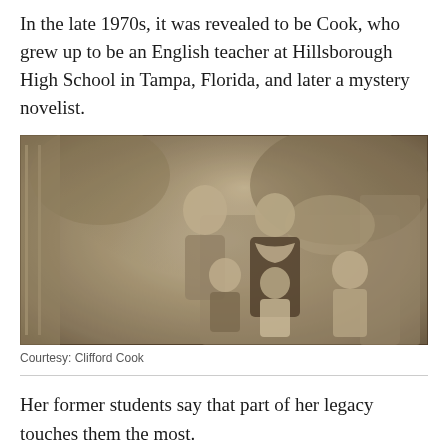In the late 1970s, it was revealed to be Cook, who grew up to be an English teacher at Hillsborough High School in Tampa, Florida, and later a mystery novelist.
[Figure (photo): Vintage black and white photograph showing a group of children and a young woman sitting together, likely from the 1950s or 1960s. One older girl stands/sits behind, a young woman in a dark dress with white collar sits in the center, and three younger children are gathered around her.]
Courtesy: Clifford Cook
Her former students say that part of her legacy touches them the most.